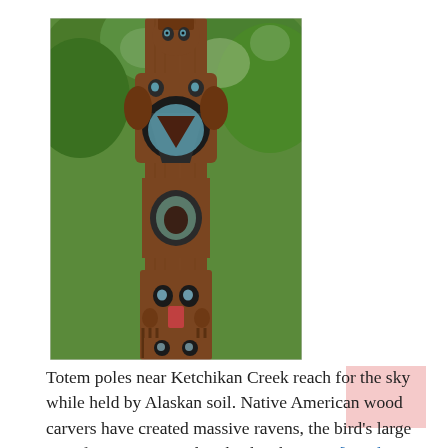[Figure (photo): A tall ornately carved wooden totem pole with raven figures, painted in brown, teal, and black, photographed against a background of lush green trees. The totem pole features multiple stacked faces and bird figures reaching upward.]
Totem poles near Ketchikan Creek reach for the sky while held by Alaskan soil. Native American wood carvers have created massive ravens, the bird's large eyes frame its protruding beak. Above … [Read More...]